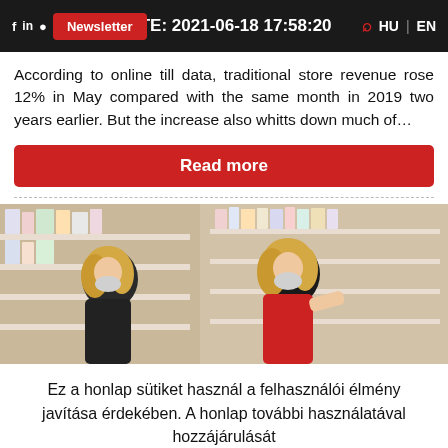DATE: 2021-06-18 17:58:20 | Newsletter | HU | EN
According to online till data, traditional store revenue rose 12% in May compared with the same month in 2019 two years earlier. But the increase also whitts down much of…
Read more
[Figure (photo): Two blonde women wearing masks shopping in a store with shelves of products]
Ez a honlap sütiket használ a felhasználói élmény javítása érdekében. A honlap további használatával hozzájárulását adja a sütik használatához. Értem | Bővebben